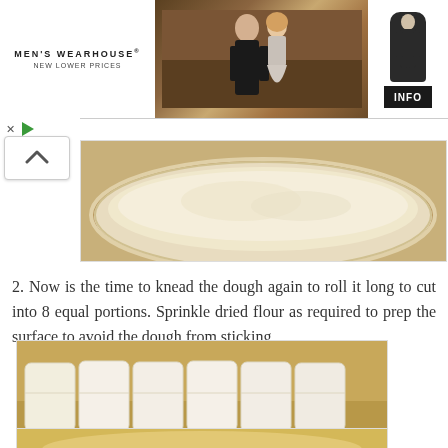[Figure (photo): Men's Wearhouse advertisement banner showing a couple dressed for a formal event and a single man in a suit, with INFO button]
[Figure (photo): Photo of dough resting in a large round white bowl]
2. Now is the time to knead the dough again to roll it long to cut into 8 equal portions. Sprinkle dried flour as required to prep the surface to avoid the dough from sticking.
[Figure (photo): Photo of bread dough cut into 6-8 equal rectangular portions lined up on a floured surface]
[Figure (photo): Partial view of another dough preparation photo at the bottom of the page]